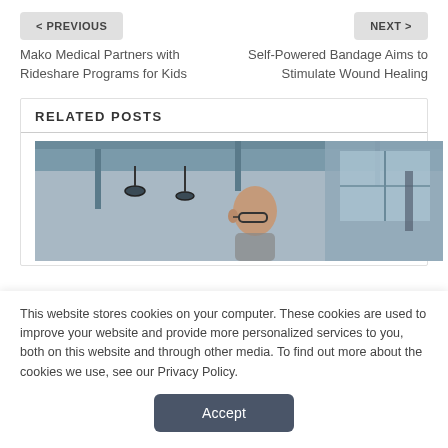< PREVIOUS
NEXT >
Mako Medical Partners with Rideshare Programs for Kids
Self-Powered Bandage Aims to Stimulate Wound Healing
RELATED POSTS
[Figure (photo): Man with headphones or equipment, appears to be in an industrial or transportation setting with metal structures visible]
This website stores cookies on your computer. These cookies are used to improve your website and provide more personalized services to you, both on this website and through other media. To find out more about the cookies we use, see our Privacy Policy.
Accept